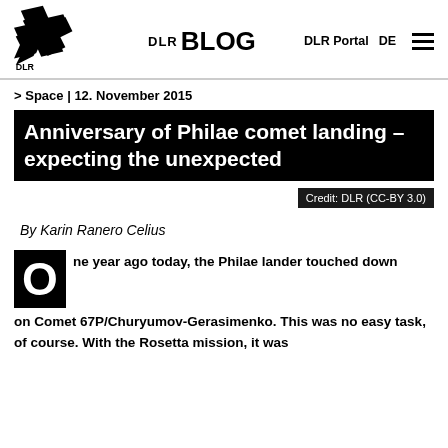DLR BLOG | DLR Portal | DE
> Space | 12. November 2015
Anniversary of Philae comet landing – expecting the unexpected
Credit: DLR (CC-BY 3.0)
By Karin Ranero Celius
One year ago today, the Philae lander touched down on Comet 67P/Churyumov-Gerasimenko. This was no easy task, of course. With the Rosetta mission, it was